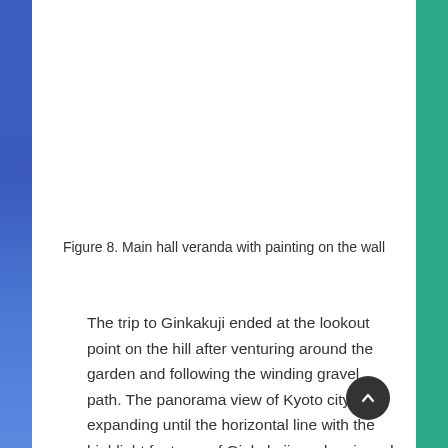[Figure (photo): White/empty area representing main hall veranda with painting on the wall photo placeholder]
Figure 8. Main hall veranda with painting on the wall
The trip to Ginkakuji ended at the lookout point on the hill after venturing around the garden and following the winding gravel path. The panorama view of Kyoto city expanding until the horizontal line with the highlight features of Ginkakuji can be viewed from here. The isolated Ginkakuji...